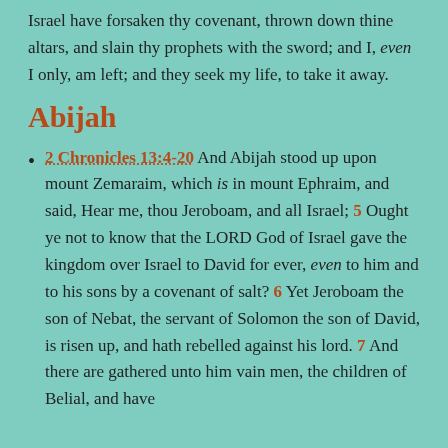Israel have forsaken thy covenant, thrown down thine altars, and slain thy prophets with the sword; and I, even I only, am left; and they seek my life, to take it away.
Abijah
2 Chronicles 13:4-20 And Abijah stood up upon mount Zemaraim, which is in mount Ephraim, and said, Hear me, thou Jeroboam, and all Israel; 5 Ought ye not to know that the LORD God of Israel gave the kingdom over Israel to David for ever, even to him and to his sons by a covenant of salt? 6 Yet Jeroboam the son of Nebat, the servant of Solomon the son of David, is risen up, and hath rebelled against his lord. 7 And there are gathered unto him vain men, the children of Belial, and have